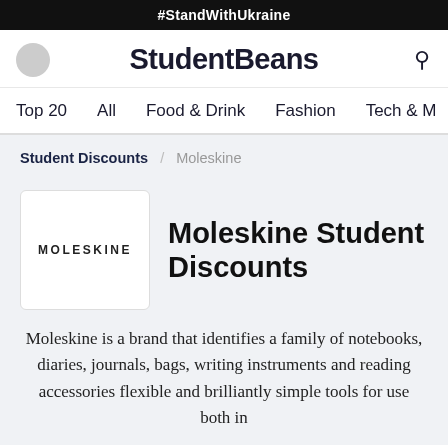#StandWithUkraine
StudentBeans
Top 20   All   Food & Drink   Fashion   Tech & M
Student Discounts / Moleskine
[Figure (logo): Moleskine brand logo — wordmark MOLESKINE in uppercase letters on white background]
Moleskine Student Discounts
Moleskine is a brand that identifies a family of notebooks, diaries, journals, bags, writing instruments and reading accessories flexible and brilliantly simple tools for use both in